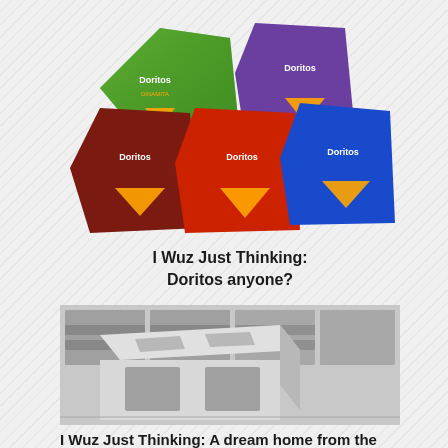[Figure (photo): Five bags of Doritos chips in various flavors and colors (green, purple, dark red, red, blue) arranged in a group]
I Wuz Just Thinking: Doritos anyone?
[Figure (photo): A cinder block (concrete masonry unit) standing upright on a stack of other cinder blocks in a warehouse or store setting]
I Wuz Just Thinking: A dream home from the past